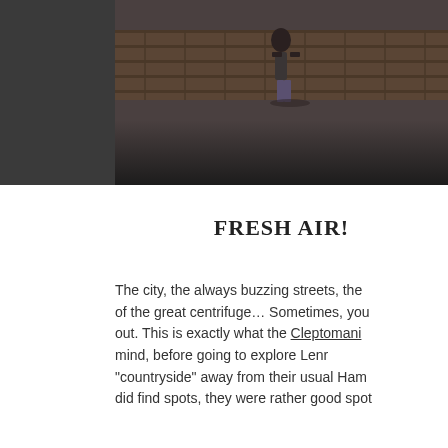[Figure (photo): Outdoor photo of a person walking on a paved area with a brick wall in the background, dark-toned image with gradient overlay at bottom.]
FRESH AIR!
The city, the always buzzing streets, the… of the great centrifuge… Sometimes, you… out. This is exactly what the Cleptomani… mind, before going to explore Lenr… "countryside" away from their usual Ham… did find spots, they were rather good spot…